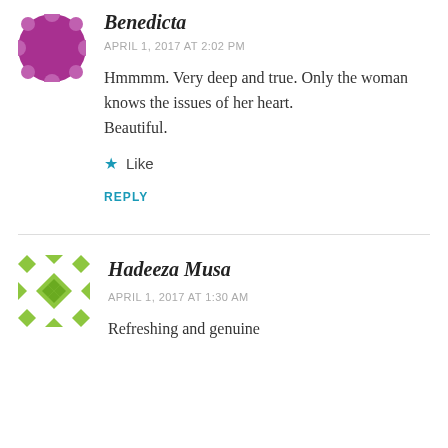Benedicta
APRIL 1, 2017 AT 2:02 PM
Hmmmm. Very deep and true. Only the woman knows the issues of her heart. Beautiful.
Like
REPLY
Hadeeza Musa
APRIL 1, 2017 AT 1:30 AM
Refreshing and genuine